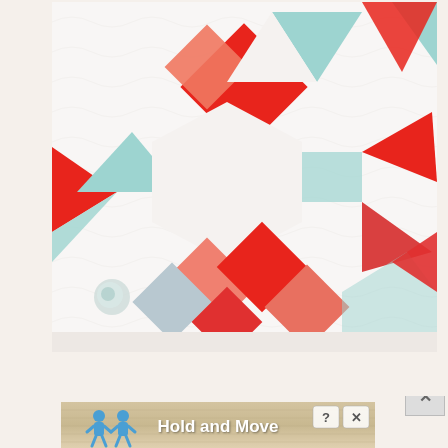[Figure (photo): Close-up photograph of a quilted fabric pattern featuring red, coral, teal/aqua, and white geometric shapes including diamonds and triangles arranged in a pinwheel-like pattern on a white quilted background with decorative stitching.]
[Figure (screenshot): Advertisement banner for a mobile game 'Hold and Move' showing two blue cartoon figures on a wooden-textured background with help (?) and close (X) buttons.]